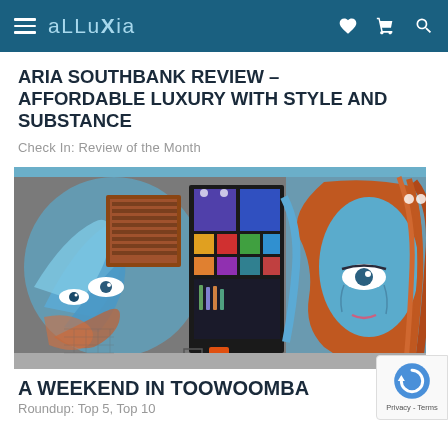alluXia
ARIA SOUTHBANK REVIEW – AFFORDABLE LUXURY WITH STYLE AND SUBSTANCE
Check In: Review of the Month
[Figure (photo): Street art mural on brick wall featuring blue and white swirling designs, a female face with blue skin and auburn hair, ornate patterns, and a large window/display showing colorful screens. Pedestrians and a red stool visible at bottom.]
A WEEKEND IN TOOWOOMBA
Roundup: Top 5, Top 10